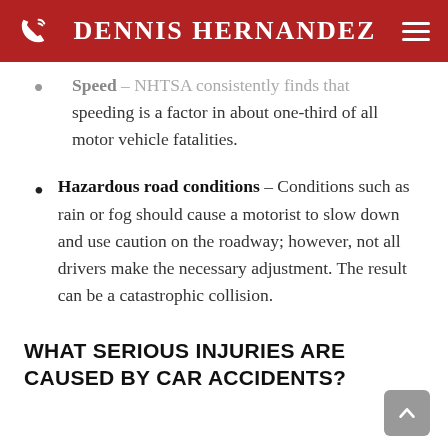Dennis Hernandez
Speed – NHTSA consistently finds that speeding is a factor in about one-third of all motor vehicle fatalities.
Hazardous road conditions – Conditions such as rain or fog should cause a motorist to slow down and use caution on the roadway; however, not all drivers make the necessary adjustment. The result can be a catastrophic collision.
WHAT SERIOUS INJURIES ARE CAUSED BY CAR ACCIDENTS?